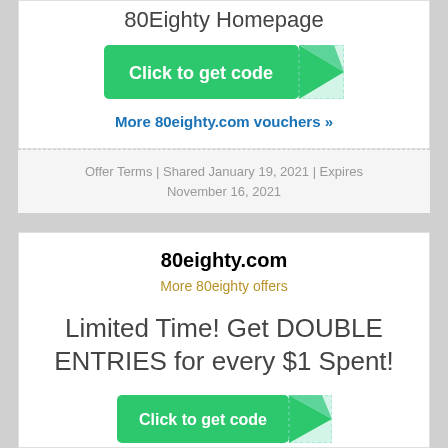80Eighty Homepage
[Figure (other): Green 'Click to get code' button with folded corner ribbon graphic]
More 80eighty.com vouchers »
Offer Terms | Shared January 19, 2021 | Expires November 16, 2021
80eighty.com
More 80eighty offers
Limited Time! Get DOUBLE ENTRIES for every $1 Spent!
[Figure (other): Green 'Click to get code' button with folded corner ribbon graphic]